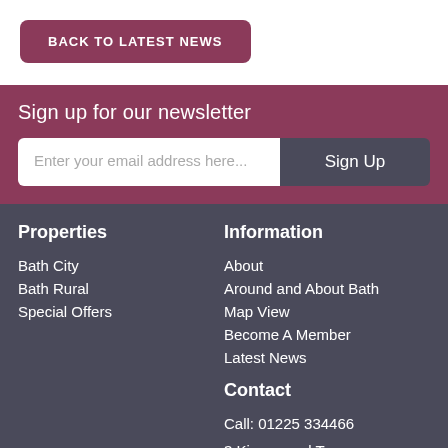BACK TO LATEST NEWS
Sign up for our newsletter
Enter your email address here...
Sign Up
Properties
Bath City
Bath Rural
Special Offers
Information
About
Around and About Bath
Map View
Become A Member
Latest News
Contact
Call: 01225 334466
3 Kingsmead Terrace